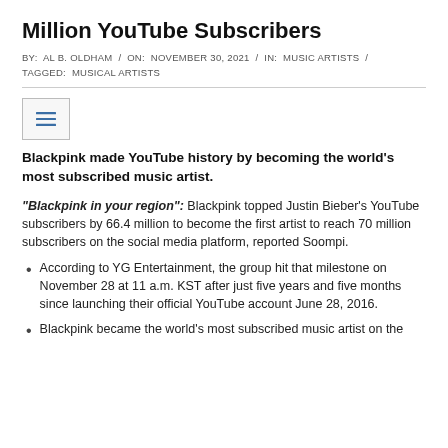Million YouTube Subscribers
BY: AL B. OLDHAM / ON: NOVEMBER 30, 2021 / IN: MUSIC ARTISTS / TAGGED: MUSICAL ARTISTS
Blackpink made YouTube history by becoming the world's most subscribed music artist.
“Blackpink in your region”: Blackpink topped Justin Bieber’s YouTube subscribers by 66.4 million to become the first artist to reach 70 million subscribers on the social media platform, reported Soompi.
According to YG Entertainment, the group hit that milestone on November 28 at 11 a.m. KST after just five years and five months since launching their official YouTube account June 28, 2016.
Blackpink became the world’s most subscribed music artist on the...